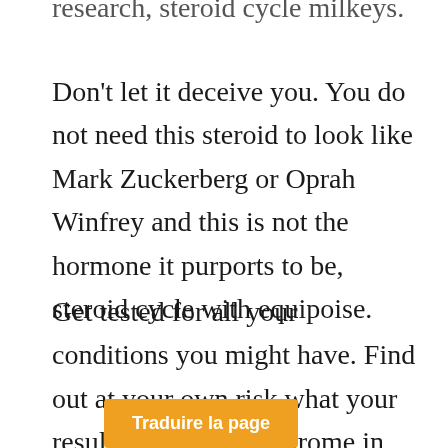research, steroid cycle milkeys.
Don't let it deceive you. You do not need this steroid to look like Mark Zuckerberg or Oprah Winfrey and this is not the hormone it purports to be, steroid cycle with equipoise.
Get tested for all your conditions you might have. Find out at your own risk what your results might be, syndrome in turner oxandrolone. I have been tested, and my [results were excell]ent. There are many studies